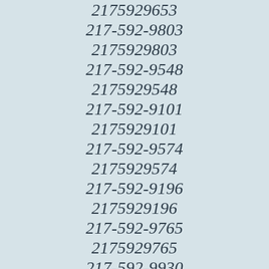2175929653
217-592-9803
2175929803
217-592-9548
2175929548
217-592-9101
2175929101
217-592-9574
2175929574
217-592-9196
2175929196
217-592-9765
2175929765
217-592-9930
2175929930
217-592-9465